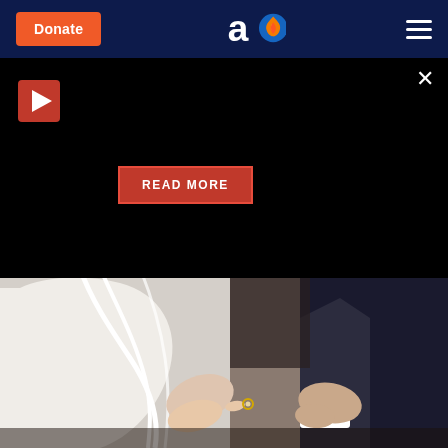[Figure (screenshot): Website header with dark navy background, orange Donate button on left, aish.com logo in center, hamburger menu icon on right]
[Figure (screenshot): Black overlay panel with red play button icon top-left, red READ MORE button in center, close X button top-right]
[Figure (photo): Wedding photo showing a bride in white dress and veil and groom in dark suit, with a ring being placed on finger]